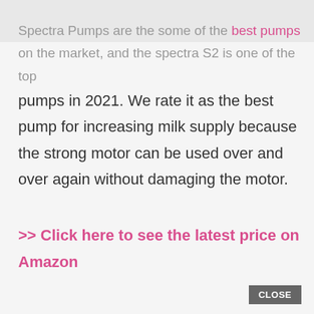Spectra Pumps are the some of the best pumps on the market, and the spectra S2 is one of the top pumps in 2021. We rate it as the best pump for increasing milk supply because the strong motor can be used over and over again without damaging the motor.
>> Click here to see the latest price on Amazon